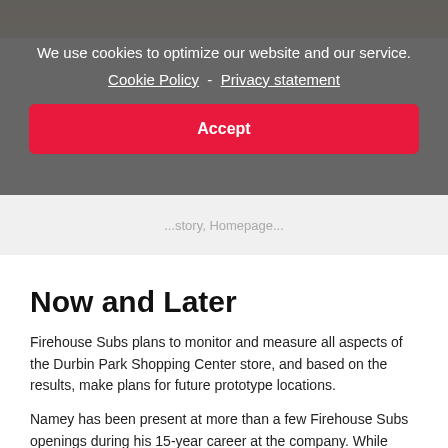[Figure (photo): Partial view of people in yellow outfits / store interior at top of page]
We use cookies to optimize our website and our service. Cookie Policy - Privacy statement
Accept
...story, Homepage...
Now and Later
Firehouse Subs plans to monitor and measure all aspects of the Durbin Park Shopping Center store, and based on the results, make plans for future prototype locations.
Namey has been present at more than a few Firehouse Subs openings during his 15-year career at the company. While observing the chain's ROTF prototype debut in July, he was especially eager to see how fast customers would figure out the